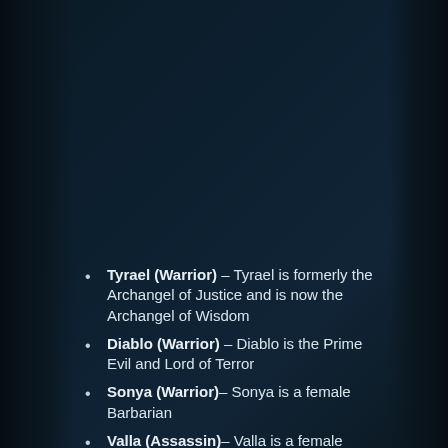Tyrael (Warrior) – Tyrael is formerly the Archangel of Justice and is now the Archangel of Wisdom
Diablo (Warrior) – Diablo is the Prime Evil and Lord of Terror
Sonya (Warrior)– Sonya is a female Barbarian
Valla (Assassin)– Valla is a female Demon Hunter
Naziha (Specialist) – Naziha is a male